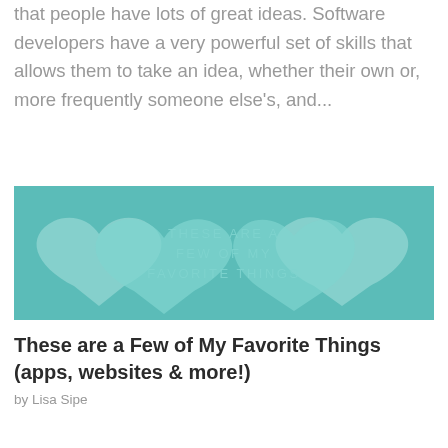that people have lots of great ideas. Software developers have a very powerful set of skills that allows them to take an idea, whether their own or, more frequently someone else's, and...
[Figure (illustration): Teal/turquoise banner image with overlapping heart shapes in lighter and darker teal tones, with text reading 'THESE ARE A FEW OF MY FAVORITE THINGS' in the center]
These are a Few of My Favorite Things (apps, websites & more!)
by Lisa Sipe